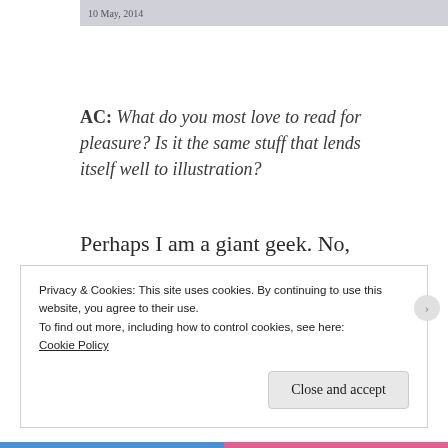10 May, 2014
AC: What do you most love to read for pleasure? Is it the same stuff that lends itself well to illustration?
Perhaps I am a giant geek. No, for sure I am a giant geek. Apart from fiction of the
Privacy & Cookies: This site uses cookies. By continuing to use this website, you agree to their use.
To find out more, including how to control cookies, see here:
Cookie Policy
Close and accept